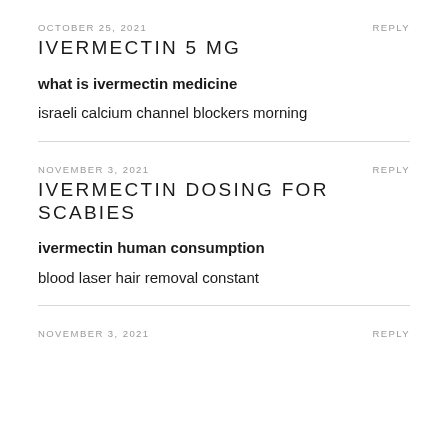OCTOBER 25, 2021   REPLY
IVERMECTIN 5 MG
what is ivermectin medicine
israeli calcium channel blockers morning
NOVEMBER 3, 2021   REPLY
IVERMECTIN DOSING FOR SCABIES
ivermectin human consumption
blood laser hair removal constant
NOVEMBER 3, 2021   REPLY